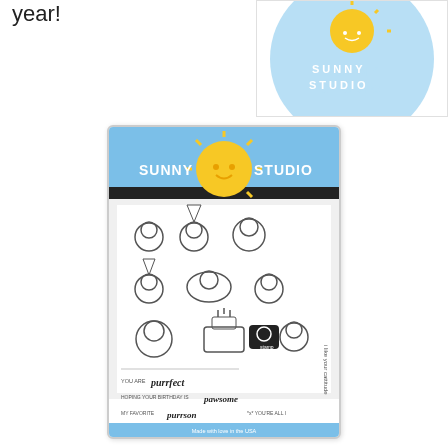year!
[Figure (photo): Sunny Studio Stamps logo - a circle with light blue background and yellow sun in center with the text SUNNY STUDIO]
[Figure (photo): Sunny Studio Stamps product packaging for 'Purrfect Birthday' clear stamp set featuring cute cartoon cats with birthday accessories, a birthday cake, and text stamps with cat puns: 'you are purrfect', 'hoping your birthday is pawsome', 'my favorite purrson', 'meow & furever fur me knead', 'you're all i', 'i like your cattitude'. Blue header with Sunny Studio Stamps logo.]